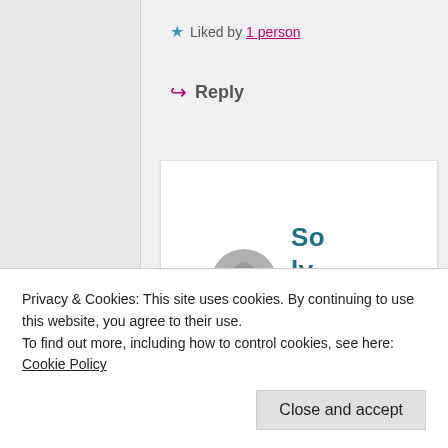★ Liked by 1 person
↳ Reply
[Figure (photo): Profile card with circular avatar photo of a woman, and the name 'Solveig' in bold teal/dark blue text, with a partial date below]
Privacy & Cookies: This site uses cookies. By continuing to use this website, you agree to their use.
To find out more, including how to control cookies, see here: Cookie Policy
Close and accept